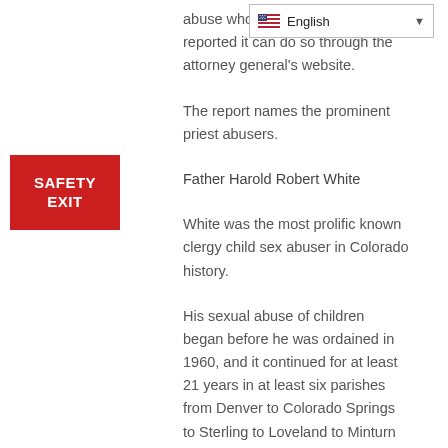[Figure (screenshot): Language selector dropdown showing English with US flag]
abuse who has not previously reported it can do so through the attorney general's website.
The report names the prominent priest abusers.
Father Harold Robert White
White was the most prolific known clergy child sex abuser in Colorado history.
His sexual abuse of children began before he was ordained in 1960, and it continued for at least 21 years in at least six parishes from Denver to Colorado Springs to Sterling to Loveland to Minturn